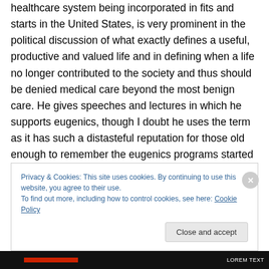healthcare system being incorporated in fits and starts in the United States, is very prominent in the political discussion of what exactly defines a useful, productive and valued life and in defining when a life no longer contributed to the society and thus should be denied medical care beyond the most benign care. He gives speeches and lectures in which he supports eugenics, though I doubt he uses the term as it has such a distasteful reputation for those old enough to remember the eugenics programs started and supported by Dr. Margaret Higgins Sanger, the founder of the organization
Privacy & Cookies: This site uses cookies. By continuing to use this website, you agree to their use.
To find out more, including how to control cookies, see here: Cookie Policy
Close and accept